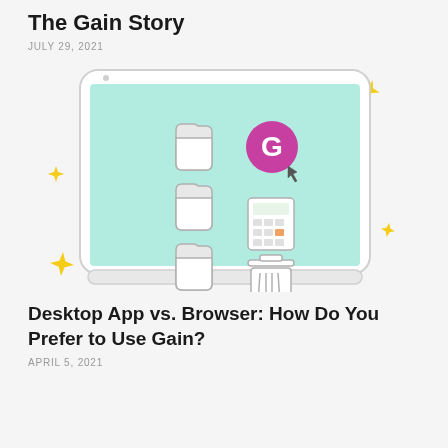The Gain Story
JULY 29, 2021
[Figure (illustration): Illustration of a tablet/laptop screen with teal background showing folder icons, a purple G (Gain) logo icon, a calculator icon, and a trash bin icon, with yellow diamond sparkle decorations around the device.]
Desktop App vs. Browser: How Do You Prefer to Use Gain?
APRIL 5, 2021